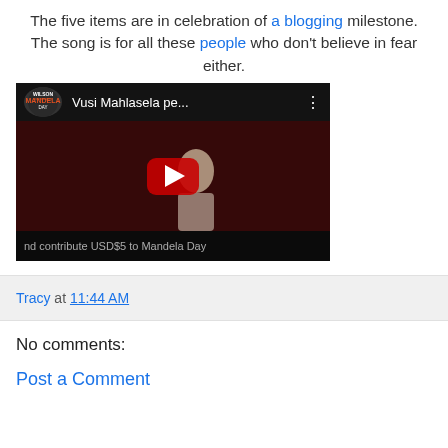The five items are in celebration of a blogging milestone. The song is for all these people who don't believe in fear either.
[Figure (screenshot): Embedded YouTube video thumbnail showing Vusi Mahlasela performance with Wilson Mandela Day logo, play button visible, text 'and contribute USD$5 to Mandela Day' at bottom]
Tracy at 11:44 AM
No comments:
Post a Comment